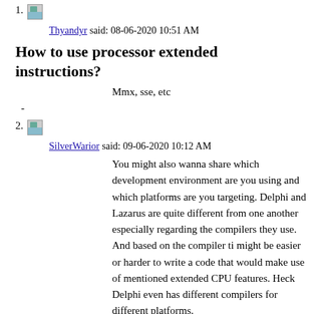1. [avatar image]
Thyandyr said: 08-06-2020 10:51 AM
How to use processor extended instructions?
Mmx, sse, etc
-
2. [avatar image]
SilverWarior said: 09-06-2020 10:12 AM
You might also wanna share which development environment are you using and which platforms are you targeting. Delphi and Lazarus are quite different from one another especially regarding the compilers they use. And based on the compiler ti might be easier or harder to write a code that would make use of mentioned extended CPU features. Heck Delphi even has different compilers for different platforms.